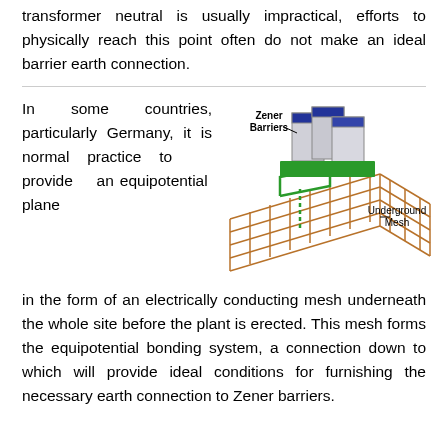transformer neutral is usually impractical, efforts to physically reach this point often do not make an ideal barrier earth connection.
[Figure (illustration): 3D illustration showing Zener Barriers (grey rectangular units) mounted on a green conducting mesh/grid, with labels 'Zener Barriers' and 'Underground Mesh'. The mesh is shown as a brown grid pattern laid flat, with green connectors linking to the barriers above.]
In some countries, particularly Germany, it is normal practice to provide an equipotential plane in the form of an electrically conducting mesh underneath the whole site before the plant is erected. This mesh forms the equipotential bonding system, a connection down to which will provide ideal conditions for furnishing the necessary earth connection to Zener barriers.